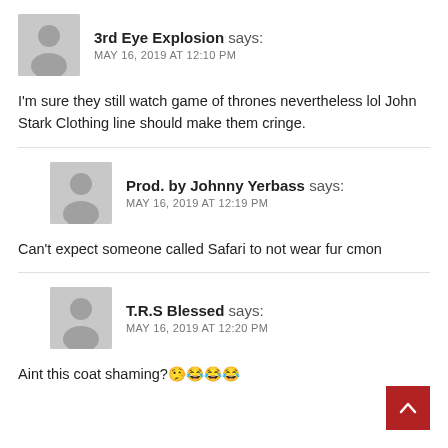[Figure (other): User avatar placeholder – grey silhouette icon for 3rd Eye Explosion]
3rd Eye Explosion says:
MAY 16, 2019 AT 12:10 PM
I'm sure they still watch game of thrones nevertheless lol John Stark Clothing line should make them cringe.
[Figure (other): User avatar placeholder – grey silhouette icon for Prod. by Johnny Yerbass]
Prod. by Johnny Yerbass says:
MAY 16, 2019 AT 12:19 PM
Can't expect someone called Safari to not wear fur cmon
[Figure (other): User avatar placeholder – grey silhouette icon for T.R.S Blessed]
T.R.S Blessed says:
MAY 16, 2019 AT 12:20 PM
Aint this coat shaming?🤥😂😂😂